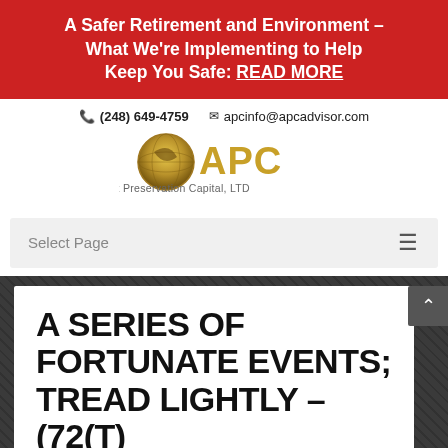A Safer Retirement and Environment – What We're Implementing to Help Keep You Safe: READ MORE
☎ (248) 649-4759   ✉ apcinfo@apcadvisor.com
[Figure (logo): APC Asset Preservation Capital, LTD logo with gold globe and stylized lettering]
Select Page
A SERIES OF FORTUNATE EVENTS; TREAD LIGHTLY – (72(T)